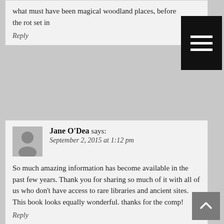what must have been magical woodland places, before the rot set in
Reply
Jane O'Dea says:
September 2, 2015 at 1:12 pm
So much amazing information has become available in the past few years. Thank you for sharing so much of it with all of us who don't have access to rare libraries and ancient sites. This book looks equally wonderful. thanks for the comp!
Reply
Dianne says:
September 2, 2015 at 1:19 pm
Interesting! Would like to learn more.